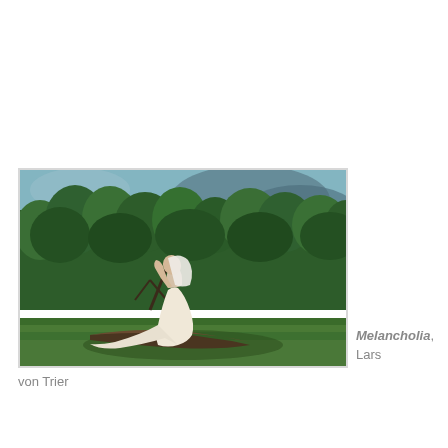[Figure (photo): A film still from Melancholia by Lars von Trier. A woman in a white wedding dress is leaning back dramatically on a fallen tree trunk in an open field, with lush green trees in the background and a dramatic sky.]
Melancholia, Lars von Trier